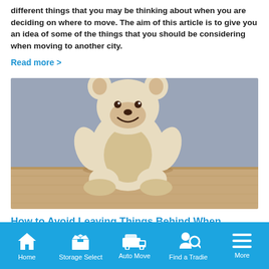different things that you may be thinking about when you are deciding on where to move. The aim of this article is to give you an idea of some of the things that you should be considering when moving to another city.
Read more >
[Figure (photo): A white fluffy stuffed animal sheep/lamb toy sitting on a wooden surface against a grey wall background]
How to Avoid Leaving Things Behind When Moving Home
Home | Storage Select | Auto Move | Find a Tradie | More